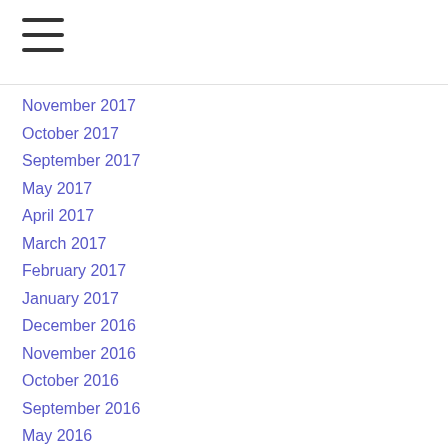≡
November 2017
October 2017
September 2017
May 2017
April 2017
March 2017
February 2017
January 2017
December 2016
November 2016
October 2016
September 2016
May 2016
April 2016
March 2016
February 2016
January 2016
December 2015